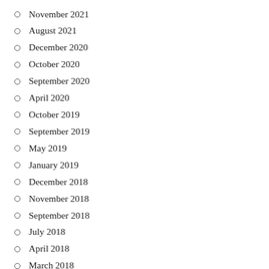November 2021
August 2021
December 2020
October 2020
September 2020
April 2020
October 2019
September 2019
May 2019
January 2019
December 2018
November 2018
September 2018
July 2018
April 2018
March 2018
October 2017
September 2017